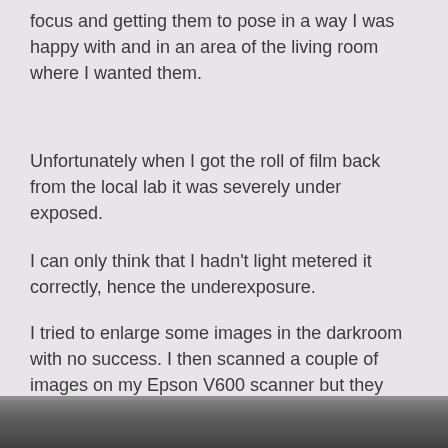focus and getting them to pose in a way I was happy with and in an area of the living room where I wanted them.
Unfortunately when I got the roll of film back from the local lab it was severely under exposed.
I can only think that I hadn't light metered it correctly, hence the underexposure.
I tried to enlarge some images in the darkroom with no success. I then scanned a couple of images on my Epson V600 scanner but they clearly weren't salvageable. Here are a couple photos I attempted scanning before giving up:
[Figure (photo): Bottom strip of a dark, underexposed photograph visible at the bottom of the page]